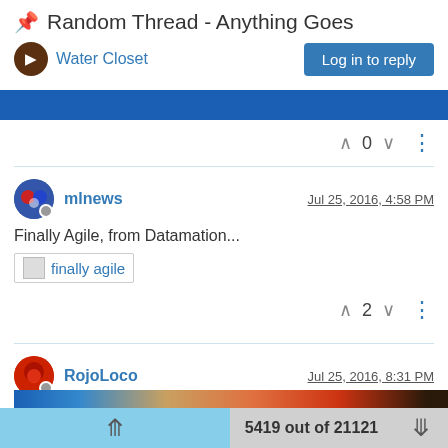📌 Random Thread - Anything Goes
Water Closet
Log in to reply
0
mlnews  Jul 25, 2016, 4:58 PM
Finally Agile, from Datamation...
finally agile
2
RojoLoco  Jul 25, 2016, 8:31 PM
5419 out of 21121